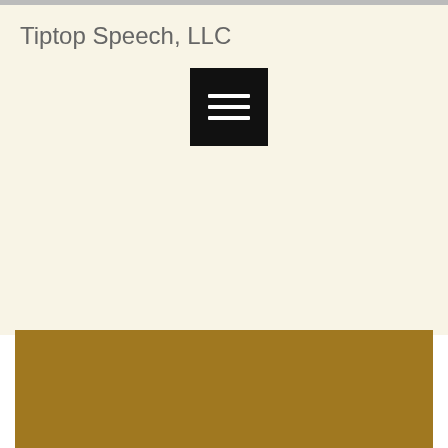Tiptop Speech, LLC
[Figure (screenshot): Mobile app screenshot showing a profile page for 'Bitstarz no deposit ilmaiskierr...' on what appears to be a blogging or social platform (Tiptop Speech, LLC). Includes a hamburger menu icon, golden banner header, avatar circle with letter B, Follow button, follower/following counts, and a dropdown box.]
Bitstarz no deposit ilmaiskierr...
0 Followers • 0 Following